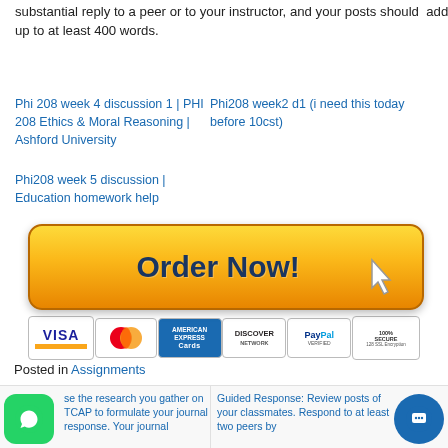substantial reply to a peer or to your instructor, and your posts should add up to at least 400 words.
Phi 208 week 4 discussion 1 | PHI 208 Ethics & Moral Reasoning | Ashford University
Phi208 week2 d1 (i need this today before 10cst)
Phi208 week 5 discussion | Education homework help
[Figure (illustration): Orange/yellow Order Now button with cursor icon, followed by payment method icons: VISA, MasterCard, American Express Cards, Discover, PayPal Verified, 100% Secure 128 SSL Encryption]
Posted in Assignments
se the research you gather on TCAP to formulate your journal response. Your journal
Guided Response: Review posts of your classmates. Respond to at least two peers by